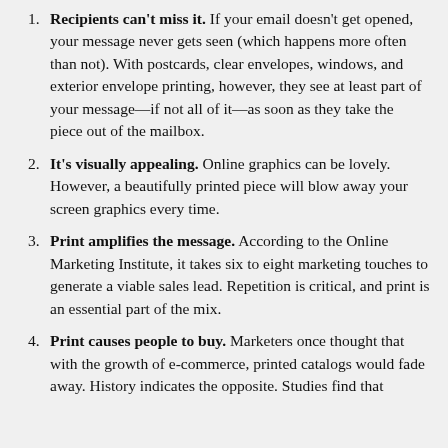Recipients can't miss it. If your email doesn't get opened, your message never gets seen (which happens more often than not). With postcards, clear envelopes, windows, and exterior envelope printing, however, they see at least part of your message—if not all of it—as soon as they take the piece out of the mailbox.
It's visually appealing. Online graphics can be lovely. However, a beautifully printed piece will blow away your screen graphics every time.
Print amplifies the message. According to the Online Marketing Institute, it takes six to eight marketing touches to generate a viable sales lead. Repetition is critical, and print is an essential part of the mix.
Print causes people to buy. Marketers once thought that with the growth of e-commerce, printed catalogs would fade away. History indicates the opposite. Studies find that